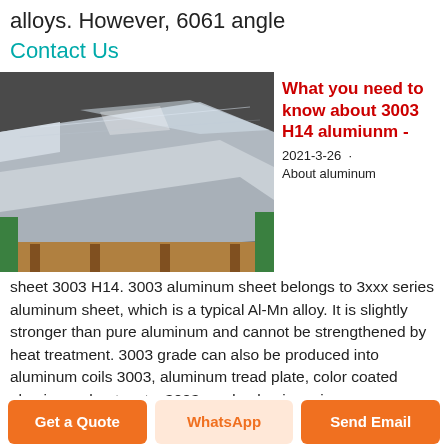alloys. However, 6061 angle
Contact Us
[Figure (photo): Stacked aluminum sheets/plates with plastic protective film, stored on wooden pallets in a warehouse.]
What you need to know about 3003 H14 alumiunm -
2021-3-26 · About aluminum sheet 3003 H14. 3003 aluminum sheet belongs to 3xxx series aluminum sheet, which is a typical Al-Mn alloy. It is slightly stronger than pure aluminum and cannot be strengthened by heat treatment. 3003 grade can also be produced into aluminum coils 3003, aluminum tread plate, color coated aluminum sheets, etc. 3003-grade aluminum is one
Get a Quote
WhatsApp
Send Email